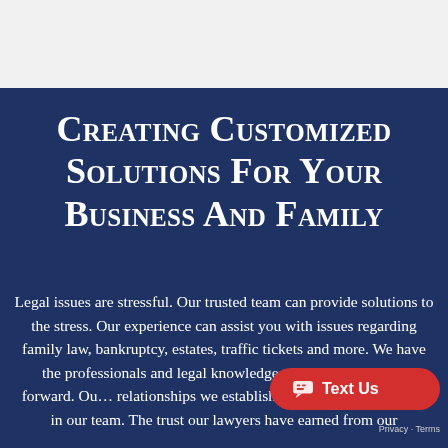[Figure (other): Top navigation/header bar area, light gray background]
Creating Customized Solutions For Your Business And Family
Legal issues are stressful. Our trusted team can provide solutions to the stress. Our experience can assist you with issues regarding family law, bankruptcy, estates, traffic tickets and more. We have the professionals and legal knowledge to keep you moving forward. Our relationships we establish with our clients a... put in our team. The trust our lawyers have earned from our